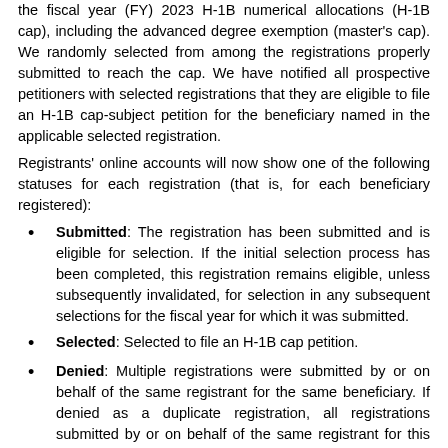the fiscal year (FY) 2023 H-1B numerical allocations (H-1B cap), including the advanced degree exemption (master's cap). We randomly selected from among the registrations properly submitted to reach the cap. We have notified all prospective petitioners with selected registrations that they are eligible to file an H-1B cap-subject petition for the beneficiary named in the applicable selected registration.
Registrants' online accounts will now show one of the following statuses for each registration (that is, for each beneficiary registered):
Submitted: The registration has been submitted and is eligible for selection. If the initial selection process has been completed, this registration remains eligible, unless subsequently invalidated, for selection in any subsequent selections for the fiscal year for which it was submitted.
Selected: Selected to file an H-1B cap petition.
Denied: Multiple registrations were submitted by or on behalf of the same registrant for the same beneficiary. If denied as a duplicate registration, all registrations submitted by or on behalf of the same registrant for this beneficiary for the fiscal year are invalid.
Invalidated-Failed Payment: A registration was submitted